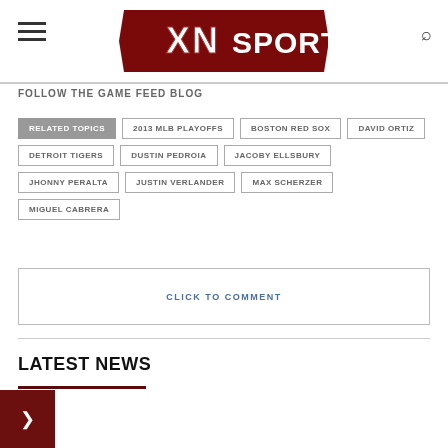XN SPORTS
FOLLOW THE GAME FEED BLOG
RELATED TOPICS
2013 MLB PLAYOFFS
BOSTON RED SOX
DAVID ORTIZ
DETROIT TIGERS
DUSTIN PEDROIA
JACOBY ELLSBURY
JHONNY PERALTA
JUSTIN VERLANDER
MAX SCHERZER
MIGUEL CABRERA
CLICK TO COMMENT
LATEST NEWS